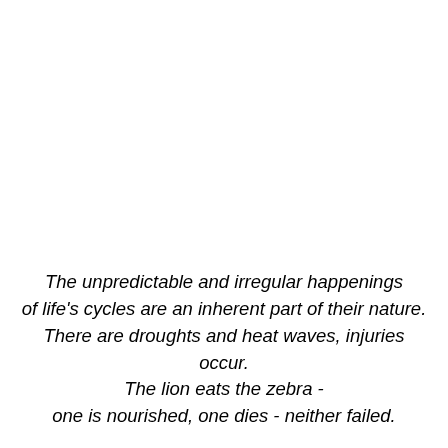The unpredictable and irregular happenings of life's cycles are an inherent part of their nature. There are droughts and heat waves, injuries occur. The lion eats the zebra - one is nourished, one dies - neither failed.